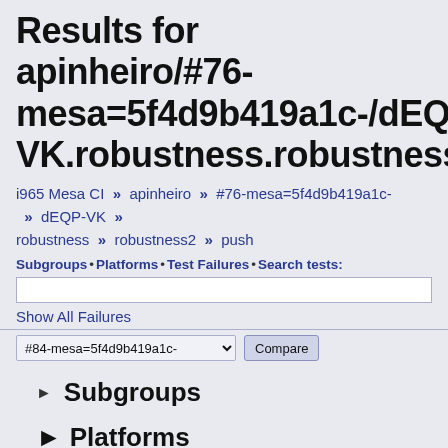Results for apinheiro/#76-mesa=5f4d9b419a1c-/dEQP-VK.robustness.robustness2.push:
i965 Mesa CI » apinheiro » #76-mesa=5f4d9b419a1c- » dEQP-VK » robustness » robustness2 » push
Subgroups • Platforms • Test Failures • Search tests:
Show All Failures
#84-mesa=5f4d9b419a1c- Compare
▶ Subgroups
▶ Platforms